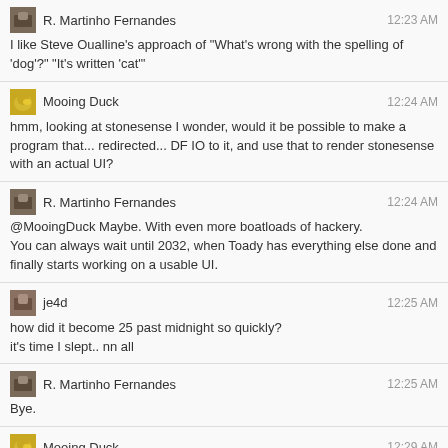R. Martinho Fernandes 12:23 AM
I like Steve Oualline's approach of "What's wrong with the spelling of 'dog'?" "It's written 'cat'"
Mooing Duck 12:24 AM
hmm, looking at stonesense I wonder, would it be possible to make a program that... redirected... DF IO to it, and use that to render stonesense with an actual UI?
R. Martinho Fernandes 12:24 AM
@MooingDuck Maybe. With even more boatloads of hackery.
You can always wait until 2032, when Toady has everything else done and finally starts working on a usable UI.
je4d 12:25 AM
how did it become 25 past midnight so quickly?
it's time I slept.. nn all
R. Martinho Fernandes 12:25 AM
Bye.
Mooing Duck 12:29 AM
@RMartinhoFernandes According to my calculations, DF v1.0 should be roughly 15-Dec-22
(roughly 12:42a)
(plus or minus a lot)
R. Martinho Fernandes 12:30 AM